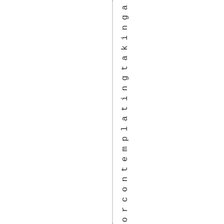odality,orcontemplatingtakinga